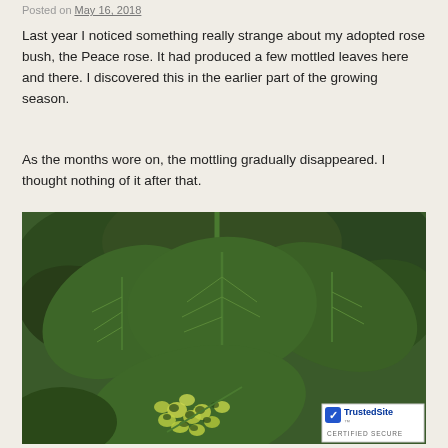Posted on May 16, 2018
Last year I noticed something really strange about my adopted rose bush, the Peace rose. It had produced a few mottled leaves here and there. I discovered this in the earlier part of the growing season.
As the months wore on, the mottling gradually disappeared. I thought nothing of it after that.
[Figure (photo): Close-up photograph of rose bush leaves (Peace rose), with one leaf in the foreground showing mottled yellow-green spotting pattern against a dark green background. Other healthy dark green leaves are visible around it.]